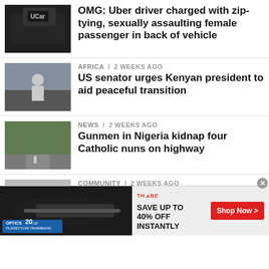[Figure (photo): Thumbnail photo of Uber car interior]
OMG: Uber driver charged with zip-tying, sexually assaulting female passenger in back of vehicle
[Figure (photo): Thumbnail photo of man on street]
AFRICA / 2 weeks ago
US senator urges Kenyan president to aid peaceful transition
[Figure (photo): Thumbnail photo of highway]
NEWS / 2 weeks ago
Gunmen in Nigeria kidnap four Catholic nuns on highway
[Figure (photo): Thumbnail photo of community event]
COMMUNITY / 2 weeks ago
Anambra: Lands Commissioner, Prof. Offornze Amucheazi in Achalla for a working visit... photos
[Figure (photo): Advertisement banner: Optics Planet 20 years and THYBE SAVE UP TO 40% OFF INSTANTLY Shop Now]